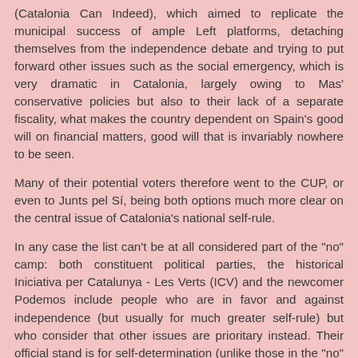(Catalonia Can Indeed), which aimed to replicate the municipal success of ample Left platforms, detaching themselves from the independence debate and trying to put forward other issues such as the social emergency, which is very dramatic in Catalonia, largely owing to Mas' conservative policies but also to their lack of a separate fiscality, what makes the country dependent on Spain's good will on financial matters, good will that is invariably nowhere to be seen.
Many of their potential voters therefore went to the CUP, or even to Junts pel Sí, being both options much more clear on the central issue of Catalonia's national self-rule.
In any case the list can't be at all considered part of the "no" camp: both constituent political parties, the historical Iniciativa per Catalunya - Les Verts (ICV) and the newcomer Podemos include people who are in favor and against independence (but usually for much greater self-rule) but who consider that other issues are prioritary instead. Their official stand is for self-determination (unlike those in the "no" camp) and in any case for a Federal Republic, and not at all